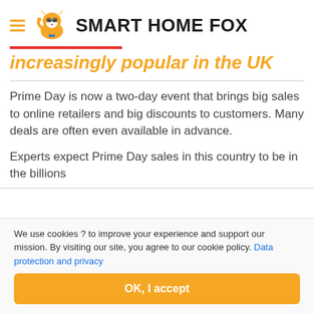SMART HOME FOX
increasingly popular in the UK
Prime Day is now a two-day event that brings big sales to online retailers and big discounts to customers. Many deals are often even available in advance.
Experts expect Prime Day sales in this country to be in the billions
We use cookies ? to improve your experience and support our mission. By visiting our site, you agree to our cookie policy. Data protection and privacy
OK, I accept